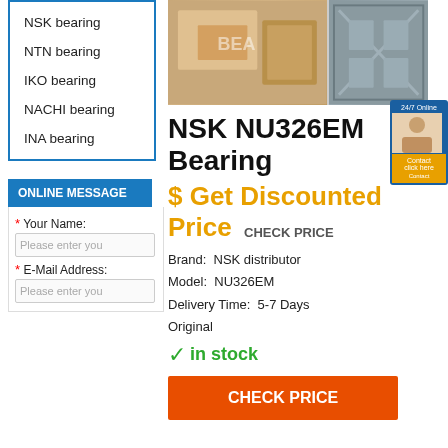NSK bearing
NTN bearing
IKO bearing
NACHI bearing
INA bearing
ONLINE MESSAGE
* Your Name:
Please enter you
* E-Mail Address:
Please enter you
[Figure (photo): Product photos showing bearing boxes being packed/shipped in warehouse]
NSK NU326EM Bearing
$ Get Discounted Price  CHECK PRICE
Brand: NSK distributor
Model: NU326EM
Delivery Time: 5-7 Days
Original
✓in stock
CHECK PRICE